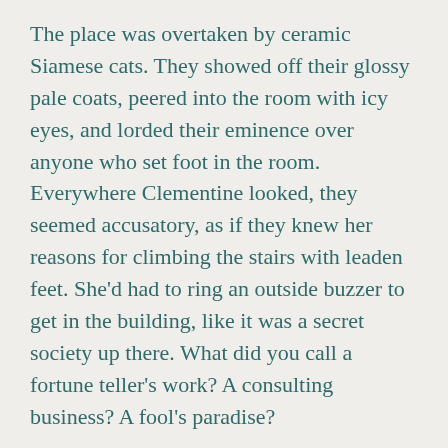The place was overtaken by ceramic Siamese cats. They showed off their glossy pale coats, peered into the room with icy eyes, and lorded their eminence over anyone who set foot in the room. Everywhere Clementine looked, they seemed accusatory, as if they knew her reasons for climbing the stairs with leaden feet. She'd had to ring an outside buzzer to get in the building, like it was a secret society up there. What did you call a fortune teller's work? A consulting business? A fool's paradise?
It was attractive once she let herself in. Elegant, in fact, which was surprising considering the neighborhood, fraught with wandering souls and greasy eateries. She